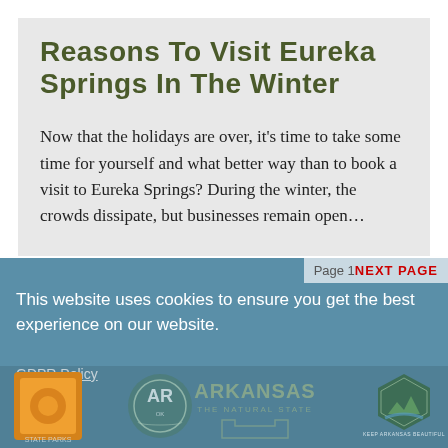Reasons to Visit Eureka Springs in the Winter
Now that the holidays are over, it's time to take some time for yourself and what better way than to book a visit to Eureka Springs? During the winter, the crowds dissipate, but businesses remain open…
Page 1 NEXT PAGE
This website uses cookies to ensure you get the best experience on our website.
GDPR Policy
[Figure (logo): Arkansas state logos and Keep Arkansas Beautiful badge]